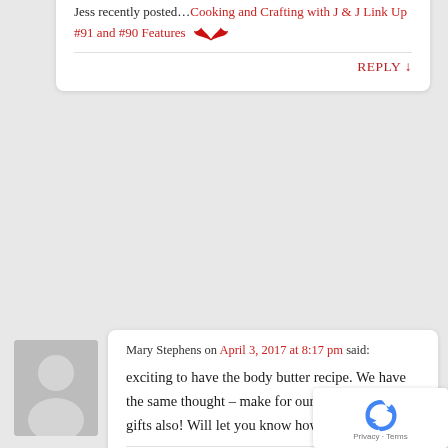Jess recently posted…Cooking and Crafting with J & J Link Up #91 and #90 Features 🦅
REPLY ↓
Mary Stephens on April 3, 2017 at 8:17 pm said:
exciting to have the body butter recipe. We have the same thought – make for ourselves and for gifts also! Will let you know how mine turns out!
REPLY ↓
roseannnmhampton on April 3, 2017 at 8:39 pm said: